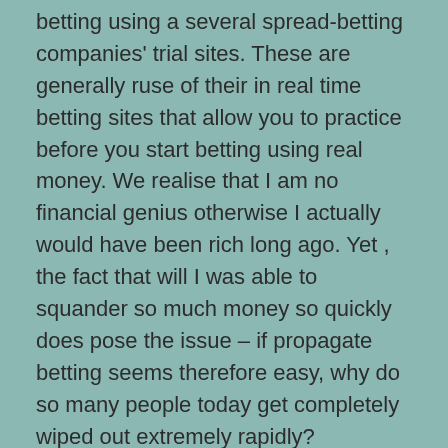betting using a several spread-betting companies' trial sites. These are generally ruse of their in real time betting sites that allow you to practice before you start betting using real money. We realise that I am no financial genius otherwise I actually would have been rich long ago. Yet , the fact that will I was able to squander so much money so quickly does pose the issue – if propagate betting seems therefore easy, why do so many people today get completely wiped out extremely rapidly?
We're increasingly viewing advertising for